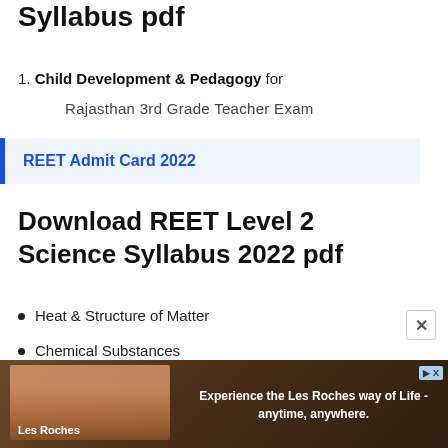Syllabus pdf
Child Development & Pedagogy for Rajasthan 3rd Grade Teacher Exam
REET Admit Card 2022
Download REET Level 2 Science Syllabus 2022 pdf
Heat & Structure of Matter
Chemical Substances
[Figure (photo): Les Roches advertisement banner showing a building and text 'Experience the Les Roches way of Life - anytime, anywhere.']